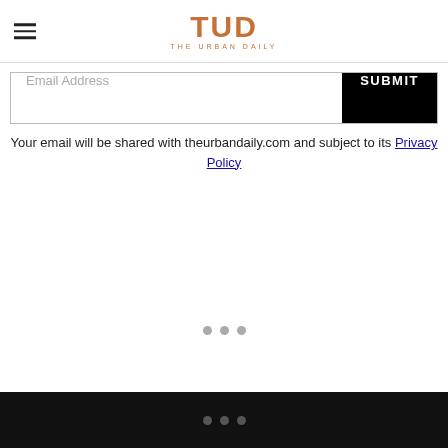TUD THE URBAN DAILY
Email Address SUBMIT
Your email will be shared with theurbandaily.com and subject to its Privacy Policy
[Figure (other): Three grey dots indicating loading or pagination indicator in middle of page]
Three dots pagination indicator on black footer bar